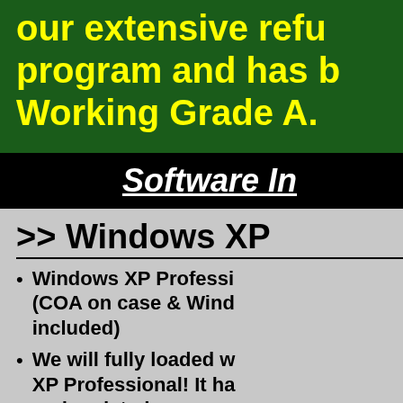our extensive refurbishment program and has been tested Working Grade A.
Software In
>> Windows XP
Windows XP Professional (COA on case & Windows CD included)
We will fully loaded with XP Professional! It has been and updated so you will use it.(Upgrade to W System)
The computer will come with Authenticity for Windows.
Software BONUS : following software (in the Future):